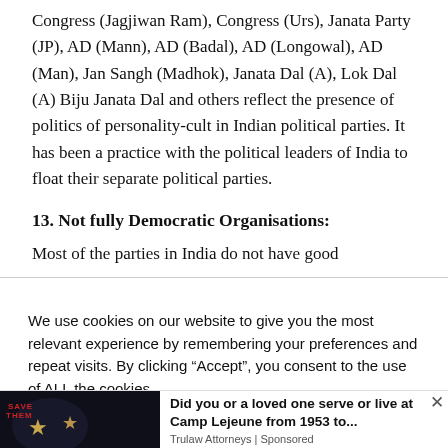Congress (Jagjiwan Ram), Congress (Urs), Janata Party (JP), AD (Mann), AD (Badal), AD (Longowal), AD (Man), Jan Sangh (Madhok), Janata Dal (A), Lok Dal (A) Biju Janata Dal and others reflect the presence of politics of personality-cult in Indian political parties. It has been a practice with the political leaders of India to float their separate political parties.
13. Not fully Democratic Organisations:
Most of the parties in India do not have good
We use cookies on our website to give you the most relevant experience by remembering your preferences and repeat visits. By clicking “Accept”, you consent to the use of ALL the cookies.
Do not sell my personal information.
[Figure (photo): Dark image showing military/American flag with gold stars, advertisement background for Trulaw Attorneys Camp Lejeune ad]
Did you or a loved one serve or live at Camp Lejeune from 1953 to... Trulaw Attorneys | Sponsored